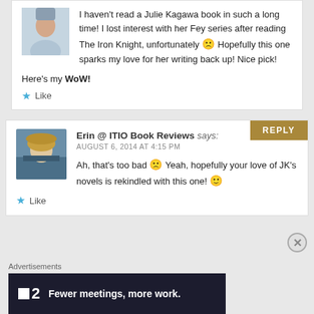I haven't read a Julie Kagawa book in such a long time! I lost interest with her Fey series after reading The Iron Knight, unfortunately 🙁 Hopefully this one sparks my love for her writing back up! Nice pick!
Here's my WoW!
Like
Erin @ ITIO Book Reviews says: AUGUST 6, 2014 AT 4:15 PM
Ah, that's too bad 🙁 Yeah, hopefully your love of JK's novels is rekindled with this one! 🙂
Like
Advertisements
[Figure (other): Advertisement banner: dark background with logo '2' and text 'Fewer meetings, more work.']